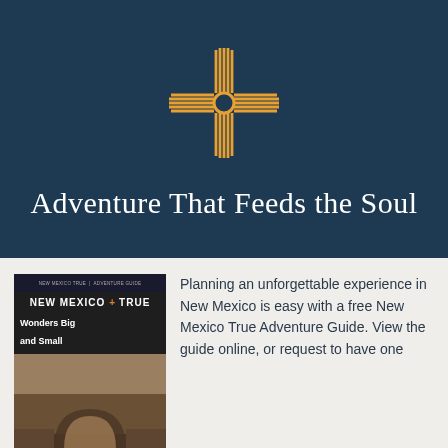[Figure (logo): New Mexico Zia sun symbol in orange/gold on dark blue background]
Adventure That Feeds the Soul
[Figure (photo): New Mexico True Adventure Guide book cover with 'Wonders Big and Small' subtitle showing an adobe/pueblo archway]
Planning an unforgettable experience in New Mexico is easy with a free New Mexico True Adventure Guide. View the guide online, or request to have one